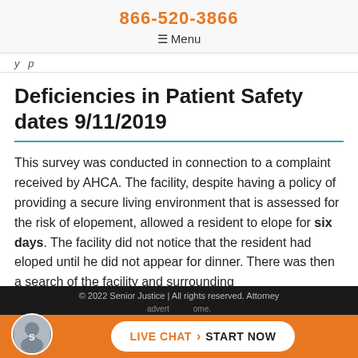866-520-3866
☰ Menu
y  p
Deficiencies in Patient Safety dates 9/11/2019
This survey was conducted in connection to a complaint received by AHCA. The facility, despite having a policy of providing a secure living environment that is assessed for the risk of elopement, allowed a resident to elope for six days. The facility did not notice that the resident had eloped until he did not appear for dinner. There was then a search of the facility and surrounding
© 2022 Senior Justice | All rights reserved. Attorney advertising...